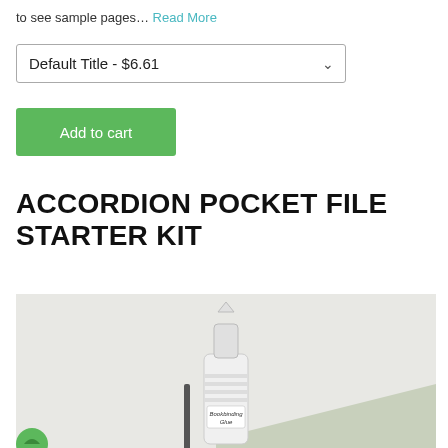to see sample pages… Read More
Default Title - $6.61
Add to cart
ACCORDION POCKET FILE STARTER KIT
[Figure (photo): Photo of bookbinding glue bottle and sage green paper/card stock on a light grey background, with a green circle element on the left edge. A label on the bottle reads 'Bookbinding Glue'.]